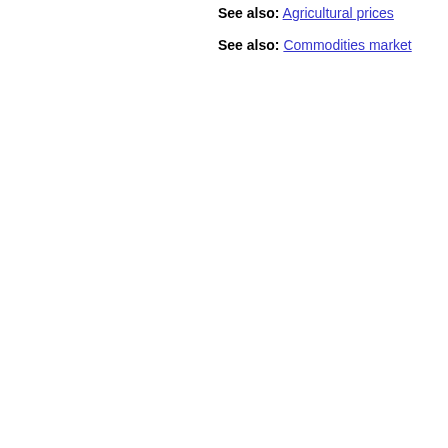See also: Agricultural prices
See also: Commodities market